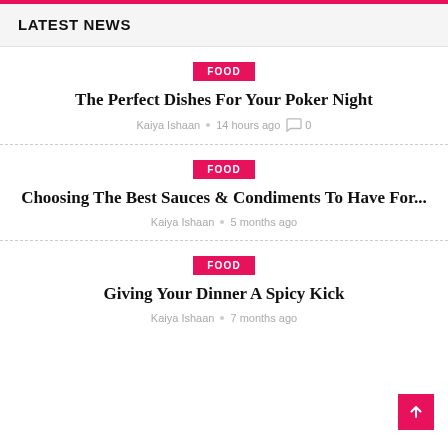LATEST NEWS
FOOD
The Perfect Dishes For Your Poker Night
Kaiya Ishaan • 14 hours ago 0
FOOD
Choosing The Best Sauces & Condiments To Have For...
Kaiya Ishaan • 5 months ago
FOOD
Giving Your Dinner A Spicy Kick
Kaiya Ishaan • 7 months ago